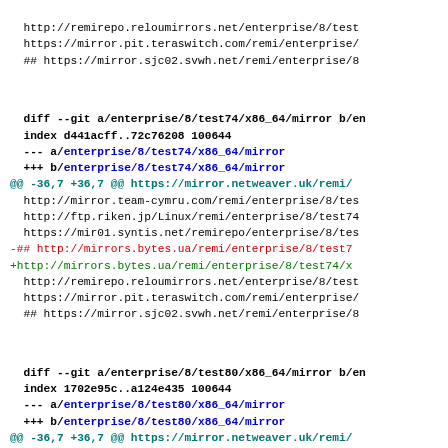http://remirepo.reloumirrors.net/enterprise/8/test
  https://mirror.pit.teraswitch.com/remi/enterprise/
  ## https://mirror.sjc02.svwh.net/remi/enterprise/8
diff --git a/enterprise/8/test74/x86_64/mirror b/en
index d441acff..72c76208 100644
--- a/enterprise/8/test74/x86_64/mirror
+++ b/enterprise/8/test74/x86_64/mirror
@@ -36,7 +36,7 @@ https://mirror.netweaver.uk/remi/
  http://mirror.team-cymru.com/remi/enterprise/8/tes
  http://ftp.riken.jp/Linux/remi/enterprise/8/test74
  https://mir01.syntis.net/remirepo/enterprise/8/tes
-## http://mirrors.bytes.ua/remi/enterprise/8/test7
+http://mirrors.bytes.ua/remi/enterprise/8/test74/x
  http://remirepo.reloumirrors.net/enterprise/8/test
  https://mirror.pit.teraswitch.com/remi/enterprise/
  ## https://mirror.sjc02.svwh.net/remi/enterprise/8
diff --git a/enterprise/8/test80/x86_64/mirror b/en
index 1702e95c..a124e435 100644
--- a/enterprise/8/test80/x86_64/mirror
+++ b/enterprise/8/test80/x86_64/mirror
@@ -36,7 +36,7 @@ https://mirror.netweaver.uk/remi/
  http://mirror.team-cymru.com/remi/enterprise/8/tes
  http://ftp.riken.jp/Linux/remi/enterprise/8/test80
  https://mir01.syntis.net/remirepo/enterprise/8/tes
-## http://mirrors.bytes.ua/remi/enterprise/8/test8
+http://mirrors.bytes.ua/remi/enterprise/8/test80/x
  http://remirepo.reloumirrors.net/enterprise/8/test
  https://mirror.pit.teraswitch.com/remi/enterprise/
  ## https://mirror.sjc02.svwh.net/remi/enterprise/8